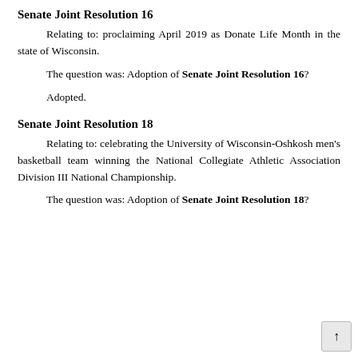Senate Joint Resolution 16
Relating to: proclaiming April 2019 as Donate Life Month in the state of Wisconsin.
The question was: Adoption of Senate Joint Resolution 16?
Adopted.
Senate Joint Resolution 18
Relating to: celebrating the University of Wisconsin-Oshkosh men's basketball team winning the National Collegiate Athletic Association Division III National Championship.
The question was: Adoption of Senate Joint Resolution 18?